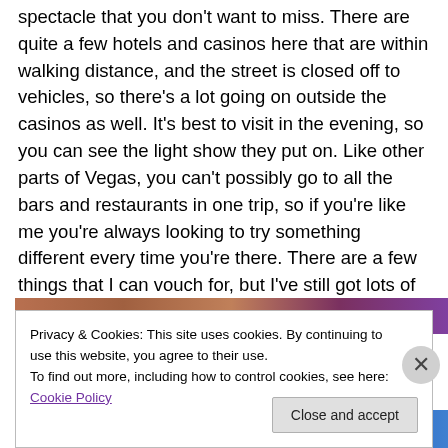spectacle that you don't want to miss.  There are quite a few hotels and casinos here that are within walking distance, and the street is closed off to vehicles, so there's a lot going on outside the casinos as well.  It's best to visit in the evening, so you can see the light show they put on.  Like other parts of Vegas, you can't possibly go to all the bars and restaurants in one trip, so if you're like me you're always looking to try something different every time you're there.  There are a few things that I can vouch for, but I've still got lots of research ahead of me.
[Figure (photo): Partial photo strip visible behind cookie banner, showing colorful Las Vegas scene with purple and brown tones]
Privacy & Cookies: This site uses cookies. By continuing to use this website, you agree to their use.
To find out more, including how to control cookies, see here: Cookie Policy
Close and accept